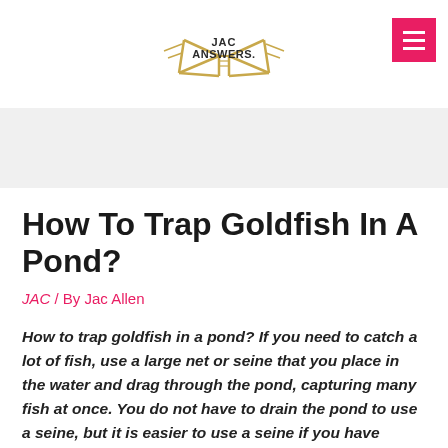JAC ANSWERS.
How To Trap Goldfish In A Pond?
JAC / By Jac Allen
How to trap goldfish in a pond? If you need to catch a lot of fish, use a large net or seine that you place in the water and drag through the pond, capturing many fish at once. You do not have to drain the pond to use a seine, but it is easier to use a seine if you have drained an amount of water out of the pond.